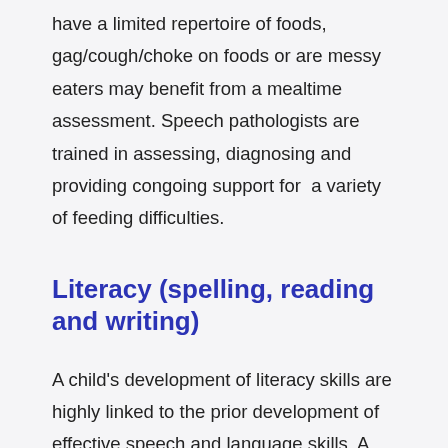have a limited repertoire of foods, gag/cough/choke on foods or are messy eaters may benefit from a mealtime assessment. Speech pathologists are trained in assessing, diagnosing and providing congoing support for  a variety of feeding difficulties.
Literacy (spelling, reading and writing)
A child's development of literacy skills are highly linked to the prior development of effective speech and language skills. A targeted assessment of a child's speech, language and phonological awareness skills